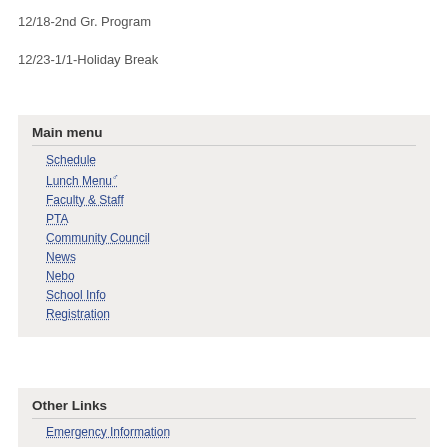12/18-2nd Gr. Program
12/23-1/1-Holiday Break
Main menu
Schedule
Lunch Menu
Faculty & Staff
PTA
Community Council
News
Nebo
School Info
Registration
Other Links
Emergency Information